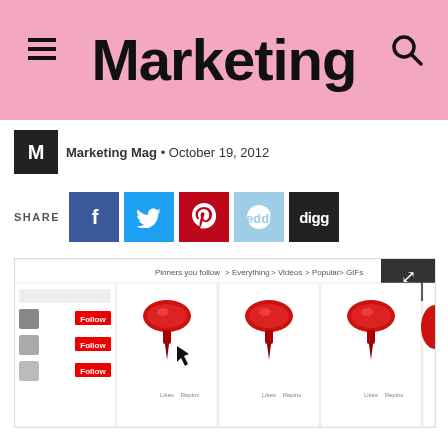Marketing
Marketing Mag • October 19, 2012
SHARE
[Figure (screenshot): Pinterest webpage screenshot showing pinned images of red thumbtack/pushpin icons with Follow buttons and Likes/Repins counters]
[Figure (infographic): Social share buttons: Facebook, Twitter, Pinterest, Reddit, Digg]